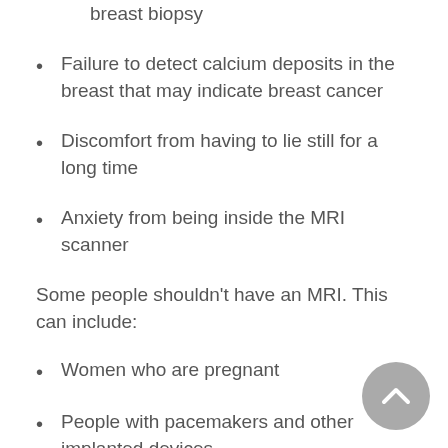False positive results that lead to unneeded breast biopsy
Failure to detect calcium deposits in the breast that may indicate breast cancer
Discomfort from having to lie still for a long time
Anxiety from being inside the MRI scanner
Some people shouldn't have an MRI. This can include:
Women who are pregnant
People with pacemakers and other implanted devices
People with recently placed metal plates, rods, screws, or other surgical devices in the body
Your risks may vary depending on your general health